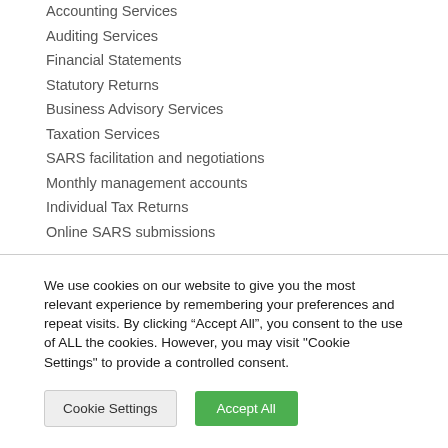Accounting Services
Auditing Services
Financial Statements
Statutory Returns
Business Advisory Services
Taxation Services
SARS facilitation and negotiations
Monthly management accounts
Individual Tax Returns
Online SARS submissions
We use cookies on our website to give you the most relevant experience by remembering your preferences and repeat visits. By clicking “Accept All”, you consent to the use of ALL the cookies. However, you may visit "Cookie Settings" to provide a controlled consent.